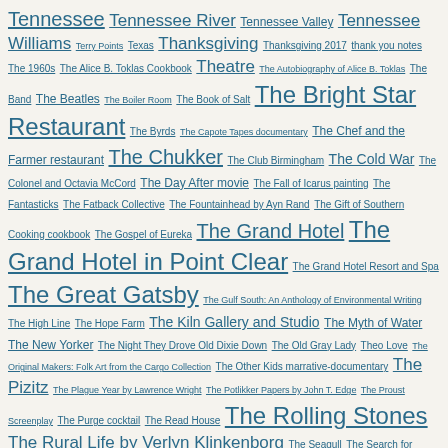Tennessee Tennessee River Tennessee Valley Tennessee Williams Terry Points Texas Thanksgiving Thanksgiving 2017 thank you notes The 1960s The Alice B. Toklas Cookbook Theatre The Autobiography of Alice B. Toklas The Band The Beatles The Boiler Room The Book of Salt The Bright Star Restaurant The Byrds The Capote Tapes documentary The Chef and the Farmer restaurant The Chukker The Club Birmingham The Cold War The Colonel and Octavia McCord The Day After movie The Fall of Icarus painting The Fantasticks The Fatback Collective The Fountainhead by Ayn Rand The Gift of Southern Cooking cookbook The Gospel of Eureka The Grand Hotel The Grand Hotel in Point Clear The Grand Hotel Resort and Spa The Great Gatsby The Gulf South: An Anthology of Environmental Writing The High Line The Hope Farm The Kiln Gallery and Studio The Myth of Water The New Yorker The Night They Drove Old Dixie Down The Old Gray Lady Theo Love The Original Makers: Folk Art from the Cargo Collection The Other Kids marrative-documentary The Pizitz The Plague Year by Lawrence Wright The Potlikker Papers by John T. Edge The Proust Screenplay The Purge cocktail The Read House The Rolling Stones The Rural Life by Verlyn Klinkenborg The Seagull The Search for General Tso The Sewanee Review the Shoals The Silence by Don DeLillo The Singing River the south The University of Alabama The University of the South The Untidy Pilgrim The Village Idiot The Wash House The Waste Land The World of Calm The Year of Magical Thinking by Joan Didion Third Space at BMA Thomas Jefferson Tower Thomas Mann Thomas Robey chef Thornton Dial Thornton Wilder Thorsby Alabama Three Identical Strangers Timothy Webber Pottery Tim Wardle Titus Kaphar To Kill a Mockingbird tomato sandwiches Tom Bradford